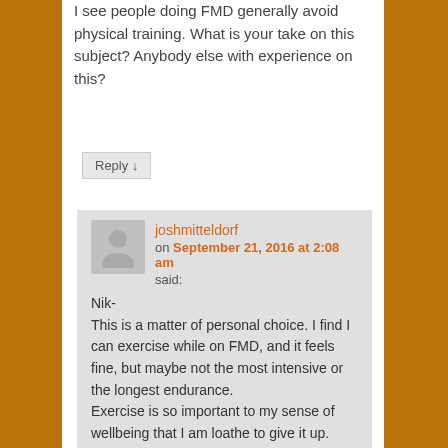I see people doing FMD generally avoid physical training. What is your take on this subject? Anybody else with experience on this?
Reply ↓
joshmitteldorf
on September 21, 2016 at 2:08 am
said:
Nik-
This is a matter of personal choice. I find I can exercise while on FMD, and it feels fine, but maybe not the most intensive or the longest endurance.
Exercise is so important to my sense of wellbeing that I am loathe to give it up.
– Josh